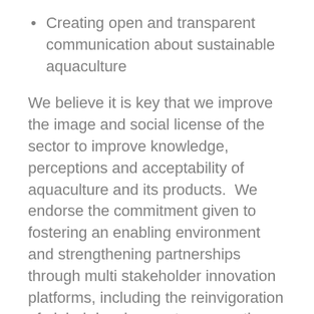Creating open and transparent communication about sustainable aquaculture
We believe it is key that we improve the image and social license of the sector to improve knowledge, perceptions and acceptability of aquaculture and its products.  We endorse the commitment given to fostering an enabling environment and strengthening partnerships through multi stakeholder innovation platforms, including the reinvigoration of global development, cooperation and networking. The modernising and development of traditional aquaculture through technology, innovative approaches and encompassing digital technologies, capacity development programmes, education and extension activities will be central to the aims of